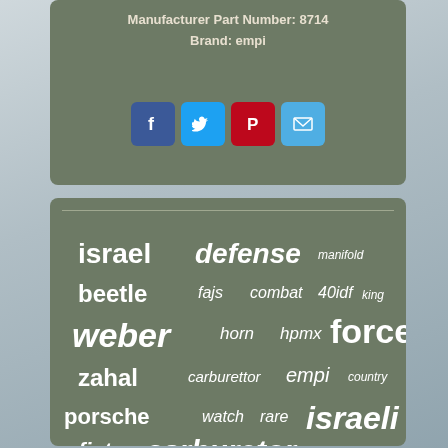Manufacturer Part Number: 8714
Brand: empi
[Figure (infographic): Social sharing buttons: Facebook (blue), Twitter (light blue), Pinterest (red), Email (light blue)]
[Figure (infographic): Tag cloud with automotive and product-related keywords in varying sizes: israel, defense, manifold, beetle, fajs, combat, 40idf, king, weber, horn, hpmx, force, zahal, carburettor, empi, country, porsche, watch, rare, israeli, fiat, carburetor, volkswagen]